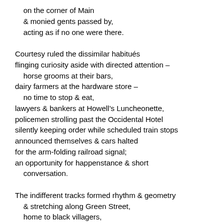on the corner of Main
& monied gents passed by,
acting as if no one were there.

Courtesy ruled the dissimilar habitués
flinging curiosity aside with directed attention –
   horse grooms at their bars,
dairy farmers at the hardware store –
   no time to stop & eat,
lawyers & bankers at Howell's Luncheonette,
policemen strolling past the Occidental Hotel
silently keeping order while scheduled train stops
announced themselves & cars halted
for the arm-folding railroad signal;
an opportunity for happenstance & short
   conversation.

The indifferent tracks formed rhythm & geometry
   & stretching along Green Street,
   home to black villagers,
connected two sides of town
hosting both border & exchange
   for melanin mixing
   or tentative greetings;
a coupling geography offering
glimpses forward & from its
   proud purlieu
the mirth of gentleman John Bruen,
black & brilliant, The Ole Hasher